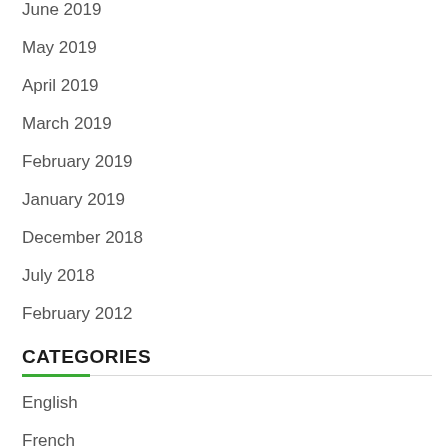June 2019
May 2019
April 2019
March 2019
February 2019
January 2019
December 2018
July 2018
February 2012
CATEGORIES
English
French
German